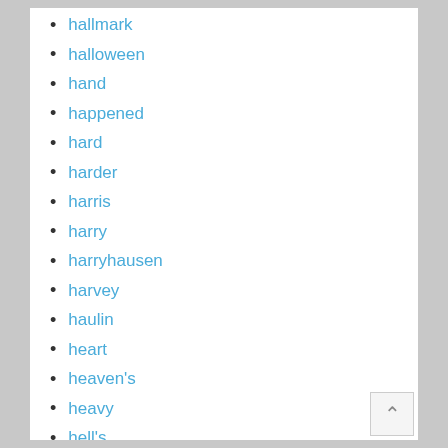hallmark
halloween
hand
happened
hard
harder
harris
harry
harryhausen
harvey
haulin
heart
heaven's
heavy
hell's
hellraiser
helmut
help